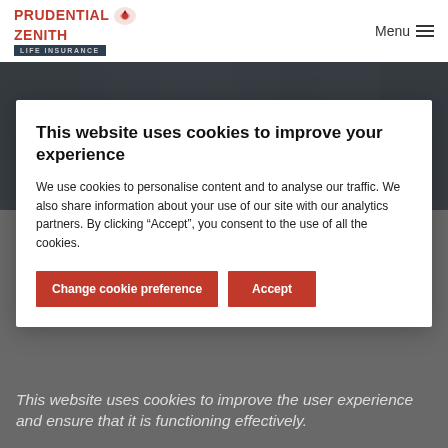PRUDENTIAL ZENITH LIFE INSURANCE | Menu
[Figure (photo): Dark background photo of people in formal attire, partially visible behind modal overlay]
This website uses cookies to improve your experience
We use cookies to personalise content and to analyse our traffic. We also share information about your use of our site with our analytics partners. By clicking “Accept”, you consent to the use of all the cookies.
Change cookie preference | Accept
This website uses cookies to improve the user experience and ensure that it is functioning effectively.